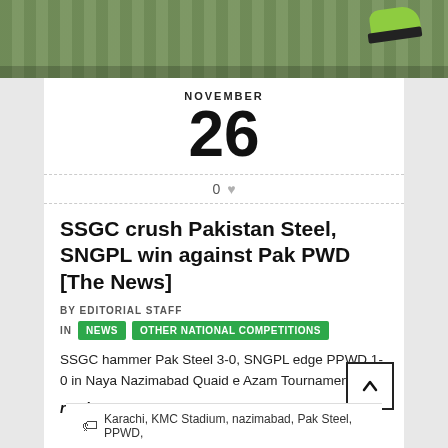[Figure (photo): Partial view of a football/soccer pitch grass field with a green shoe visible in the top right corner]
NOVEMBER
26
0 ♥
SSGC crush Pakistan Steel, SNGPL win against Pak PWD [The News]
BY EDITORIAL STAFF
IN NEWS OTHER NATIONAL COMPETITIONS
SSGC hammer Pak Steel 3-0, SNGPL edge PPWD 1-0 in Naya Nazimabad Quaid e Azam Tournament.
read more
Karachi, KMC Stadium, nazimabad, Pak Steel, PPWD,